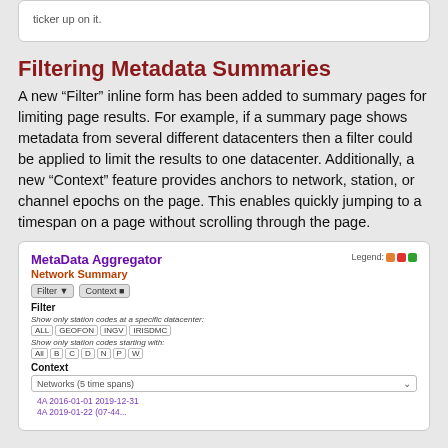ticker up on it.
Filtering Metadata Summaries
A new “Filter” inline form has been added to summary pages for limiting page results. For example, if a summary page shows metadata from several different datacenters then a filter could be applied to limit the results to one datacenter. Additionally, a new “Context” feature provides anchors to network, station, or channel epochs on the page. This enables quickly jumping to a timespan on a page without scrolling through the page.
[Figure (screenshot): Screenshot of MetaData Aggregator Network Summary page showing Filter and Context UI controls. Filter panel shows station code filter options with buttons: ALL, GEOFON, INGV, IRISDMC. Station codes starting with buttons: All, B, C, D, N, P, W. Context section shows Networks dropdown (5 time spans) and two network epoch links: 4A 2016-01-01 2019-12-31 and another partially visible.]